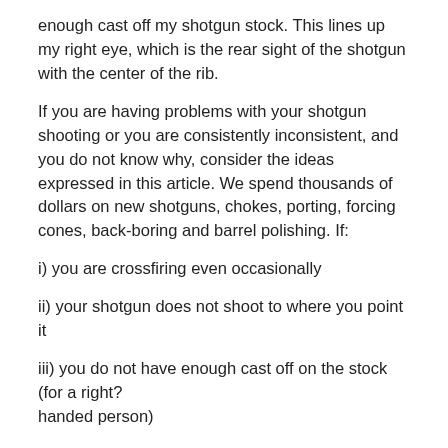enough cast off my shotgun stock. This lines up my right eye, which is the rear sight of the shotgun with the center of the rib.
If you are having problems with your shotgun shooting or you are consistently inconsistent, and you do not know why, consider the ideas expressed in this article. We spend thousands of dollars on new shotguns, chokes, porting, forcing cones, back-boring and barrel polishing. If:
i) you are crossfiring even occasionally
ii) your shotgun does not shoot to where you point it
iii) you do not have enough cast off on the stock (for a right? handed person)
you will never realize your full shooting potential.
By the way, remember that skeet league I joined, well I won a prize “The Bird Saver Award.” It is a nice carving of a male wood duck and it sits on my fireplace mantel. People often ask me if I won that during a competition and I say “no, I didn’t...